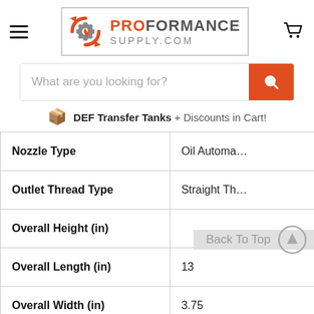[Figure (logo): ProFormance Supply.com logo with gear and flame icon, orange and grey text]
[Figure (screenshot): Search bar with placeholder text 'What are you looking for?' and orange search button]
DEF Transfer Tanks + Discounts in Cart!
| Attribute | Value |
| --- | --- |
| Nozzle Type | Oil Automa... |
| Outlet Thread Type | Straight Th... |
| Overall Height (in) |  |
| Overall Length (in) | 13 |
| Overall Width (in) | 3.75 |